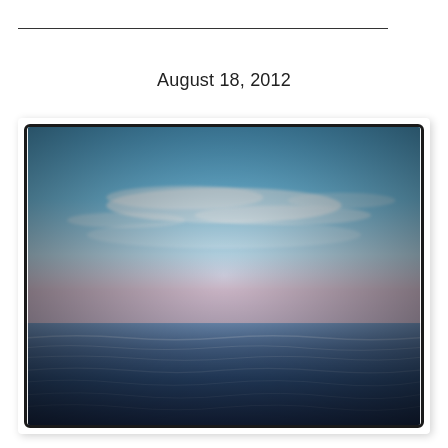August 18, 2012
[Figure (photo): Seascape photograph showing calm ocean water under a wide blue sky with wispy clouds. The horizon line divides the image roughly in the lower third. The photo has a vintage/Instagram filter applied with a dark border vignette effect.]